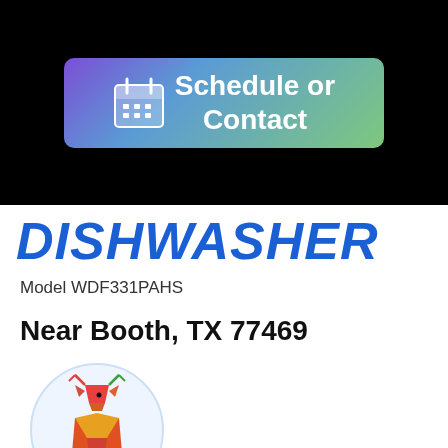[Figure (other): Schedule or Contact button with calendar icon, gradient background from purple to green]
DISHWASHER
Model WDF331PAHS
Near Booth, TX 77469
[Figure (illustration): Colorful geometric/polygonal deer logo inside a light blue circle]
raul
Job Details:
06/16/2022